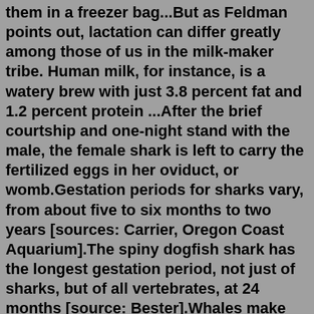them in a freezer bag...But as Feldman points out, lactation can differ greatly among those of us in the milk-maker tribe. Human milk, for instance, is a watery brew with just 3.8 percent fat and 1.2 percent protein ...After the brief courtship and one-night stand with the male, the female shark is left to carry the fertilized eggs in her oviduct, or womb.Gestation periods for sharks vary, from about five to six months to two years [sources: Carrier, Oregon Coast Aquarium].The spiny dogfish shark has the longest gestation period, not just of sharks, but of all vertebrates, at 24 months [source: Bester].Whales make noise to communicate, locate food, and find each other. A humpback whale in the singing position. Whales are very social creatures that travel in groups called "pods.". They use a variety of noises to communicate and socialize with each other. The three main types of sounds made by whales are clicks, whistles, and pulsed calls.A fascinating characteristic of orca is that they have the longest gestation period of any whale, averaging 16 to 18 months. This may